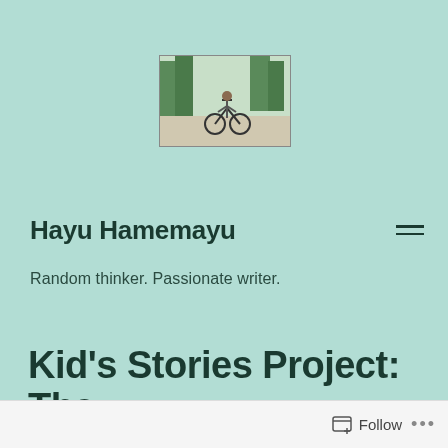[Figure (photo): Small outdoor photo showing a person with a bicycle on a path surrounded by trees]
Hayu Hamemayu
Random thinker. Passionate writer.
Kid's Stories Project: The
Follow ...